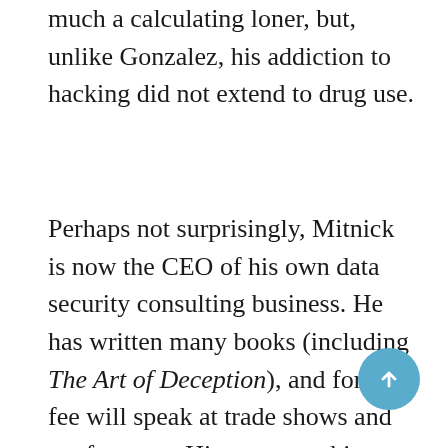much a calculating loner, but, unlike Gonzalez, his addiction to hacking did not extend to drug use.
Perhaps not surprisingly, Mitnick is now the CEO of his own data security consulting business. He has written many books (including The Art of Deception), and for a fee will speak at trade shows and conferences. His career at this point involves giving defensive advice to the very same corporate community he was formerly attacking. And if there was any doubt about Mitnick's abilities, you can examine his web page, where he refers to himself as "a genius and one of the most famous hackers of all time." It appears he's found